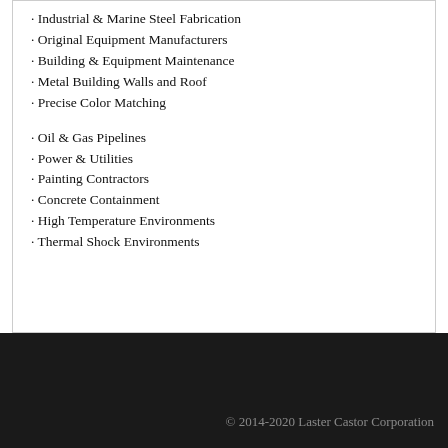· Industrial & Marine Steel Fabrication
· Original Equipment Manufacturers
· Building & Equipment Maintenance
· Metal Building Walls and Roof
· Precise Color Matching
· Oil & Gas Pipelines
· Power & Utilities
· Painting Contractors
· Concrete Containment
· High Temperature Environments
· Thermal Shock Environments
© 2014-2020 Laster Castor Corporation